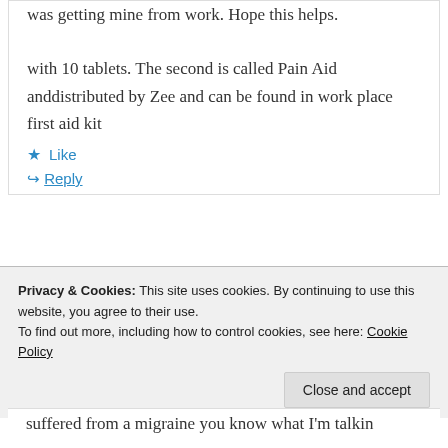was getting mine from work. Hope this helps.

with 10 tablets. The second is called Pain Aid anddistributed by Zee and can be found in work place first aid kit
★ Like
↳ Reply
kathy
Privacy & Cookies: This site uses cookies. By continuing to use this website, you agree to their use.
To find out more, including how to control cookies, see here: Cookie Policy
Close and accept
suffered from a migraine you know what I'm talkin